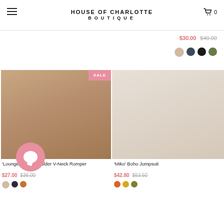HOUSE OF CHARLOTTE BOUTIQUE
$30.00  $40.00
[Figure (photo): Woman wearing beige V-neck short-sleeve romper standing in front of a wooden console table]
SALE
'Lounge' Drop Shoulder V-Neck Romper
$27.00  $36.00
[Figure (photo): Right column product image partially visible with SALE badge]
SALE
'Miko' Boho Jumpsuit
$42.80  $53.50